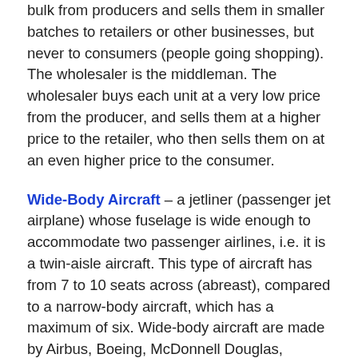bulk from producers and sells them in smaller batches to retailers or other businesses, but never to consumers (people going shopping). The wholesaler is the middleman. The wholesaler buys each unit at a very low price from the producer, and sells them at a higher price to the retailer, who then sells them on at an even higher price to the consumer.
Wide-Body Aircraft – a jetliner (passenger jet airplane) whose fuselage is wide enough to accommodate two passenger airlines, i.e. it is a twin-aisle aircraft. This type of aircraft has from 7 to 10 seats across (abreast), compared to a narrow-body aircraft, which has a maximum of six. Wide-body aircraft are made by Airbus, Boeing, McDonnell Douglas, Ilyushin, and Lockheed.
Wide Economic Moat – a significant edge – a strong competitive advantage – that a company has over its rivals. A wide economic moat may consist of patents for